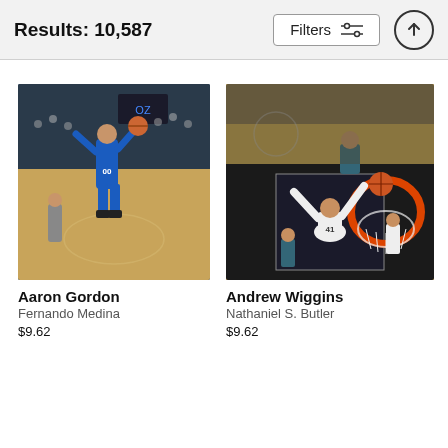Results: 10,587
Filters
[Figure (photo): Basketball player Aaron Gordon in blue uniform jumping to shoot in an arena]
Aaron Gordon
Fernando Medina
$9.62
[Figure (photo): Basketball player Andrew Wiggins dunking over a defender, aerial view of the basketball court with orange rim visible]
Andrew Wiggins
Nathaniel S. Butler
$9.62